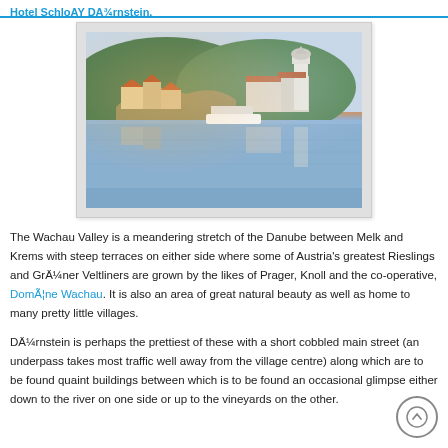Hotel SchloAY DA¾rnstein.
[Figure (photo): Panoramic photo of Dürnstein village on the Danube river, showing historic buildings with orange/red roofs, a white baroque church tower, green hillside, and their reflections in the calm river water, with a boat visible.]
The Wachau Valley is a meandering stretch of the Danube between Melk and Krems with steep terraces on either side where some of Austria's greatest Rieslings and GrÃ¼ner Veltliners are grown by the likes of Prager, Knoll and the co-operative, DomÃ¤ne Wachau. It is also an area of great natural beauty as well as home to many pretty little villages.
DÃ¼rnstein is perhaps the prettiest of these with a short cobbled main street (an underpass takes most traffic well away from the village centre) along which are to be found quaint buildings between which is to be found an occasional glimpse either down to the river on one side or up to the vineyards on the other.